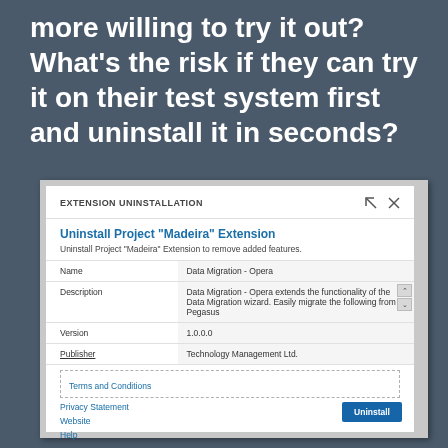more willing to try it out? What's the risk if they can try it on their test system first and uninstall it in seconds?
[Figure (screenshot): Extension Uninstallation dialog in Microsoft Dynamics 365 Business Central. Shows 'EXTENSION UNINSTALLATION' header with expand and close icons. Title: 'Uninstall Project "Madeira" Extension'. Subtitle: 'Uninstall Project "Madeira" Extension to remove added features.' Fields: Name = 'Data Migration - Opera', Description = 'Data Migration - Opera extends the functionality of the Data Migration wizard. Easily migrate the following from Pegasus', Version = '1.0.0.0', Publisher = 'Technology Management Ltd.' Links: Terms and Conditions, Privacy Statement, Website, Help. Uninstall button at bottom right.]